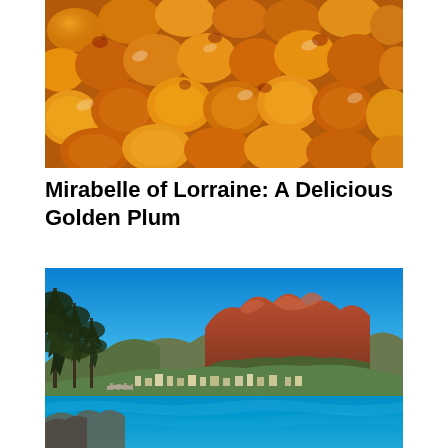[Figure (photo): Close-up photo of Mirabelle plums cooked in golden caramel sauce, showing glazed small round yellowish-orange plums tightly packed together in a pan]
Mirabelle of Lorraine: A Delicious Golden Plum
[Figure (photo): Scenic coastal photo showing rocky mountains with red/orange rock formations, blue sky, turquoise sea water, pine trees in foreground left, and a small town along the coastline]